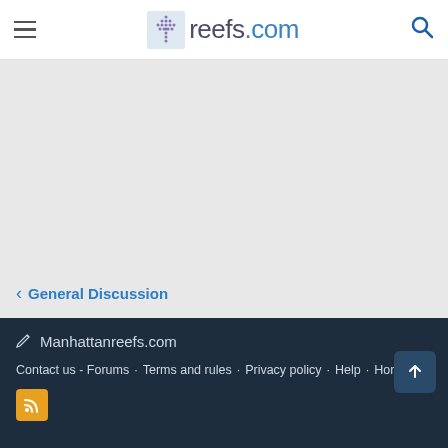reefs.com navigation header with hamburger menu and search icon
[Figure (other): Large gray content area, likely an advertisement or image placeholder]
< General Discussion
Manhattanreefs.com | Contact us - Forums | Terms and rules | Privacy policy | Help | Home | RSS feed icon | Scroll to top button